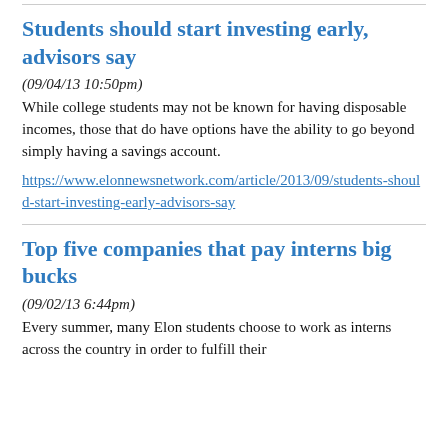Students should start investing early, advisors say
(09/04/13 10:50pm)
While college students may not be known for having disposable incomes, those that do have options have the ability to go beyond simply having a savings account.
https://www.elonnewsnetwork.com/article/2013/09/students-should-start-investing-early-advisors-say
Top five companies that pay interns big bucks
(09/02/13 6:44pm)
Every summer, many Elon students choose to work as interns across the country in order to fulfill their